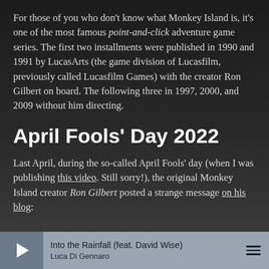For those of you who don't know what Monkey Island is, it's one of the most famous point-and-click adventure game series. The first two installments were published in 1990 and 1991 by LucasArts (the game division of Lucasfilm, previously called Lucasfilm Games) with the creator Ron Gilbert on board. The following three in 1997, 2000, and 2009 without him directing.
April Fools' Day 2022
Last April, during the so-called April Fools' day (when I was publishing this video. Still sorry!), the original Monkey Island creator Ron Gilbert posted a strange message on his blog:
[Figure (other): Media player bar at bottom showing play button, thumbnail image, track title 'Into the Rainfall (feat. David Wise)' by 'Luca Di Gennaro', and hamburger menu icon.]